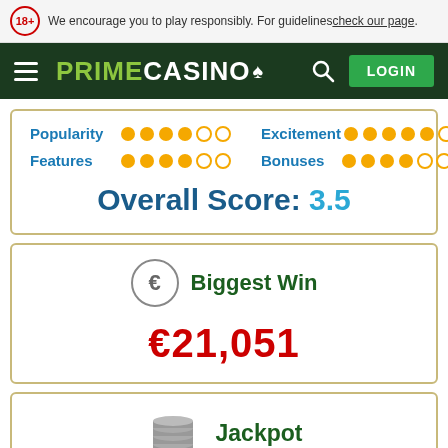We encourage you to play responsibly. For guidelines check our page.
[Figure (screenshot): Prime Casino navigation bar with hamburger menu, logo, search icon and LOGIN button]
Popularity ●●●●○○  Excitement ●●●●●○  Features ●●●●○○  Bonuses ●●●●○○
Overall Score: 3.5
Biggest Win  €21,051
Jackpot